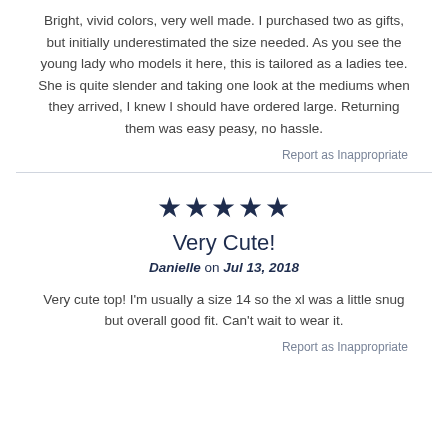Bright, vivid colors, very well made. I purchased two as gifts, but initially underestimated the size needed. As you see the young lady who models it here, this is tailored as a ladies tee. She is quite slender and taking one look at the mediums when they arrived, I knew I should have ordered large. Returning them was easy peasy, no hassle.
Report as Inappropriate
★★★★★
Very Cute!
Danielle on Jul 13, 2018
Very cute top! I'm usually a size 14 so the xl was a little snug but overall good fit. Can't wait to wear it.
Report as Inappropriate